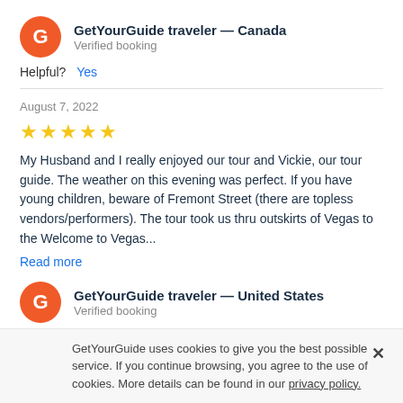GetYourGuide traveler — Canada
Verified booking
Helpful? Yes
August 7, 2022
[Figure (other): 5 yellow star rating]
My Husband and I really enjoyed our tour and Vickie, our tour guide. The weather on this evening was perfect. If you have young children, beware of Fremont Street (there are topless vendors/performers). The tour took us thru outskirts of Vegas to the Welcome to Vegas...
Read more
GetYourGuide traveler — United States
Verified booking
GetYourGuide uses cookies to give you the best possible service. If you continue browsing, you agree to the use of cookies. More details can be found in our privacy policy.